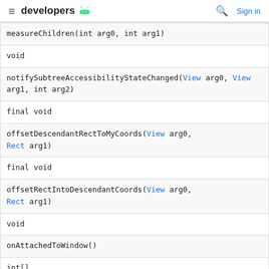developers
| measureChildren(int arg0, int arg1) |
| void |
| notifySubtreeAccessibilityStateChanged(View arg0, View arg1, int arg2) |
| final void |
| offsetDescendantRectToMyCoords(View arg0, Rect arg1) |
| final void |
| offsetRectIntoDescendantCoords(View arg0, Rect arg1) |
| void |
| onAttachedToWindow() |
| int[] |
| onCreateDrawableState(int arg0) |